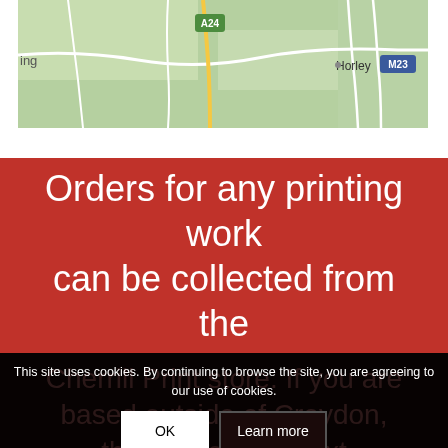[Figure (map): Partial Google Maps view showing roads including A24 and M23 motorway labels, green terrain, and the town name Horley visible on the right side. Left edge shows partial text 'ing'.]
Orders for any printing work can be collected from the
Cherrill Print store. If you are based outside of Croydon, then we offer a next day delivery...
This site uses cookies. By continuing to browse the site, you are agreeing to our use of cookies.
OK
Learn more